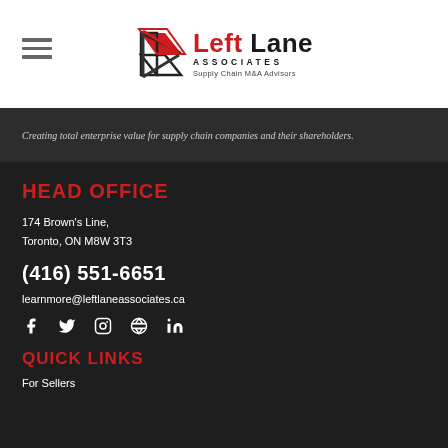[Figure (logo): Left Lane Associates logo with red and dark chevron/arrow icon and text 'Left Lane ASSOCIATES Supply Chain M&A Advisors']
Creating total enterprise value for supply chain companies and their shareholders.
HEAD OFFICE
174 Brown's Line,
Toronto, ON M8W 3T3
(416) 551-6651
learnmore@leftlaneassociates.ca
[Figure (infographic): Social media icons: Facebook, Twitter, Instagram, Pinterest, LinkedIn]
QUICK LINKS
For Sellers